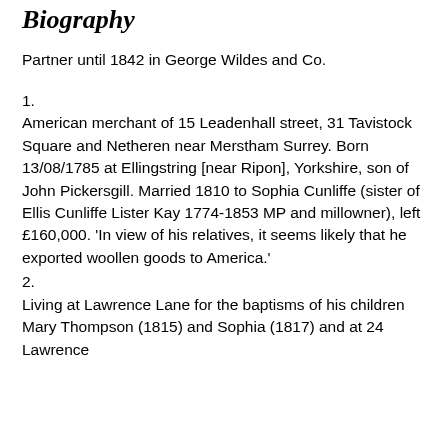Biography
Partner until 1842 in George Wildes and Co.
1.
American merchant of 15 Leadenhall street, 31 Tavistock Square and Netheren near Merstham Surrey. Born 13/08/1785 at Ellingstring [near Ripon], Yorkshire, son of John Pickersgill. Married 1810 to Sophia Cunliffe (sister of Ellis Cunliffe Lister Kay 1774-1853 MP and millowner), left £160,000. 'In view of his relatives, it seems likely that he exported woollen goods to America.'
2.
Living at Lawrence Lane for the baptisms of his children Mary Thompson (1815) and Sophia (1817) and at 24 Lawrence